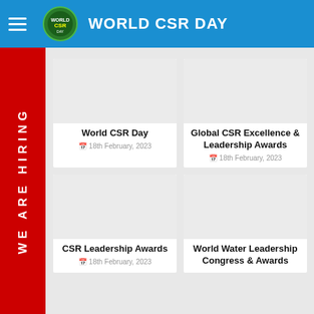WORLD CSR DAY
[Figure (screenshot): World CSR Day event card with placeholder image]
World CSR Day
18th February, 2023
[Figure (screenshot): Global CSR Excellence & Leadership Awards event card with placeholder image]
Global CSR Excellence & Leadership Awards
18th February, 2023
[Figure (screenshot): CSR Leadership Awards event card with placeholder image]
CSR Leadership Awards
18th February, 2023
[Figure (screenshot): World Water Leadership Congress & Awards event card with placeholder image]
World Water Leadership Congress & Awards